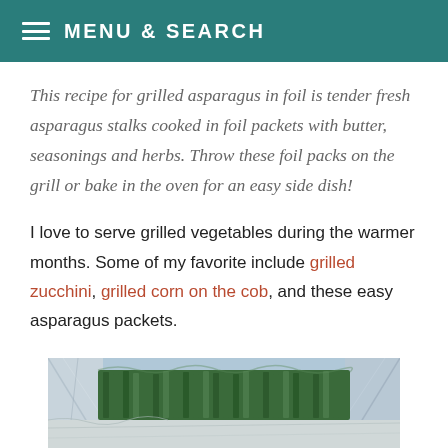MENU & SEARCH
This recipe for grilled asparagus in foil is tender fresh asparagus stalks cooked in foil packets with butter, seasonings and herbs. Throw these foil packs on the grill or bake in the oven for an easy side dish!
I love to serve grilled vegetables during the warmer months. Some of my favorite include grilled zucchini, grilled corn on the cob, and these easy asparagus packets.
[Figure (photo): Photo of asparagus wrapped in aluminum foil packets on a grill, showing green asparagus stalks surrounded by crinkled silver foil]